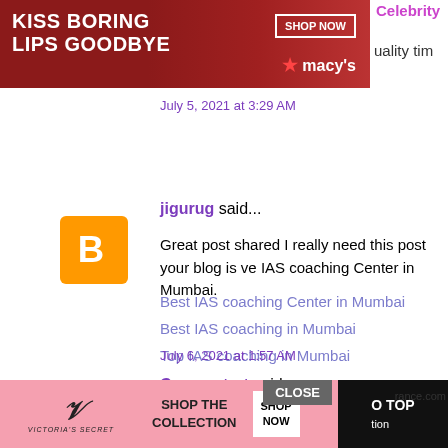[Figure (screenshot): Macy's advertisement banner with red background: 'KISS BORING LIPS GOODBYE' with SHOP NOW button and Macy's star logo]
Celebrity
uality tim
July 5, 2021 at 3:29 AM
jigurug said...
Great post shared I really need this post your blog is ve IAS coaching Center in Mumbai.
Best IAS coaching Center in Mumbai
Best IAS coaching in Mumbai
Top IAS coaching in Mumbai
July 6, 2021 at 1:57 AM
Canon start said...
Nice post. Thanks for sharing this valuable content. I re
[Figure (screenshot): Victoria's Secret advertisement: pink background with 'SHOP THE COLLECTION' text and SHOP NOW button, with CLOSE button overlay and GO TOP button]
tion
rance.com